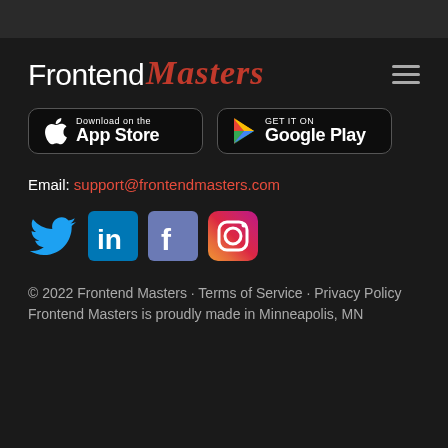[Figure (logo): Frontend Masters logo with white sans-serif 'Frontend' and red italic serif 'Masters' wordmark]
[Figure (infographic): Two app store download badges: 'Download on the App Store' (Apple) and 'GET IT ON Google Play']
Email: support@frontendmasters.com
[Figure (infographic): Social media icons: Twitter (blue bird), LinkedIn (blue square with 'in'), Facebook (purple square with 'f'), Instagram (purple/orange gradient camera icon)]
© 2022 Frontend Masters · Terms of Service · Privacy Policy
Frontend Masters is proudly made in Minneapolis, MN